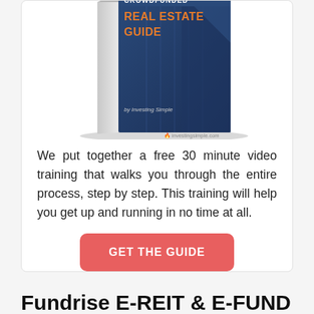[Figure (illustration): A 3D book cover titled 'Crowdfunded Real Estate Guide' by Investing Simple, with a blue skyscraper background and orange title text. The investingsimple.com watermark appears at the bottom right.]
We put together a free 30 minute video training that walks you through the entire process, step by step. This training will help you get up and running in no time at all.
GET THE GUIDE
Fundrise E-REIT & E-FUND